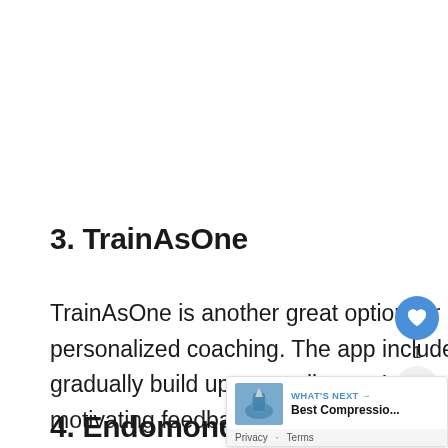3. TrainAsOne
TrainAsOne is another great option for runners who want to get personalized coaching. The app includes a training program, so you can gradually build up your mileage. It also has a virtual coach, so you can get motivating feedback as you
4. Endomondo